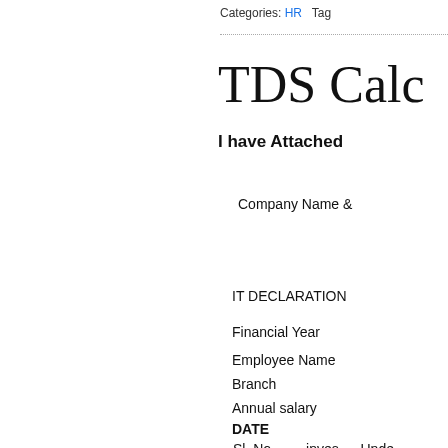Categories: HR   Tag
TDS Calc
I have Attached
Company Name &
IT DECLARATION
Financial Year
Employee Name
Branch
Annual salary
DATE
| Sl. No. | inves | Unde |
| --- | --- | --- |
| 1 | Dedu |  |